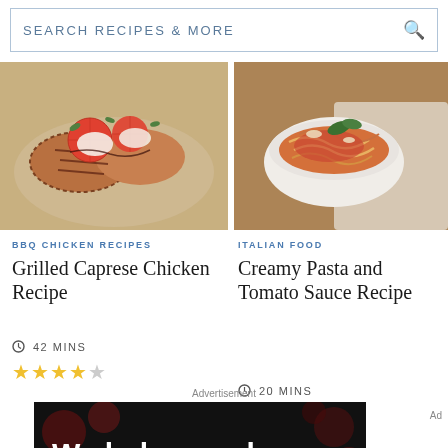[Figure (screenshot): Search bar with text SEARCH RECIPES & MORE and magnifying glass icon]
[Figure (photo): Grilled caprese chicken with tomatoes and herbs on a plate]
[Figure (photo): Bowl of creamy pasta with tomato sauce]
BBQ CHICKEN RECIPES
Grilled Caprese Chicken Recipe
42 MINS
★★★★☆
ITALIAN FOOD
Creamy Pasta and Tomato Sauce Recipe
20 MINS
★★★★☆
Advertisement
[Figure (screenshot): Advertisement banner with dark background showing 'We help people find answers.' and Dotdash Meredith logo]
Ad